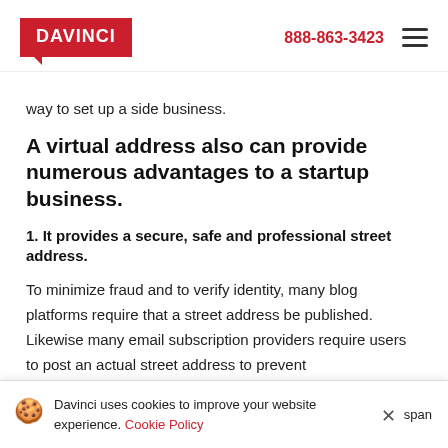DAVINCI  888-863-3423
way to set up a side business.
A virtual address also can provide numerous advantages to a startup business.
1. It provides a secure, safe and professional street address.
To minimize fraud and to verify identity, many blog platforms require that a street address be published. Likewise many email subscription providers require users to post an actual street address to prevent
Davinci uses cookies to improve your website experience. Cookie Policy